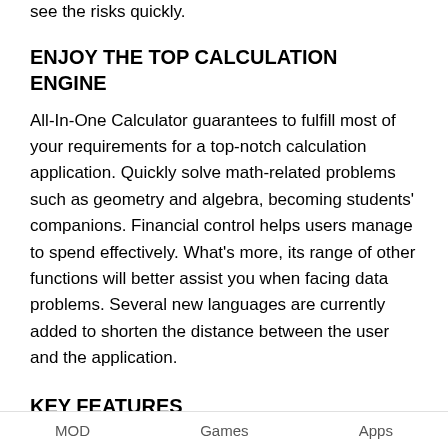see the risks quickly.
ENJOY THE TOP CALCULATION ENGINE
All-In-One Calculator guarantees to fulfill most of your requirements for a top-notch calculation application. Quickly solve math-related problems such as geometry and algebra, becoming students' companions. Financial control helps users manage to spend effectively. What's more, its range of other functions will better assist you when facing data problems. Several new languages are currently added to shorten the distance between the user and the application.
KEY FEATURES
Simple interface, compact design, and special features will be supported to make users satisfied
MOD   Games   Apps